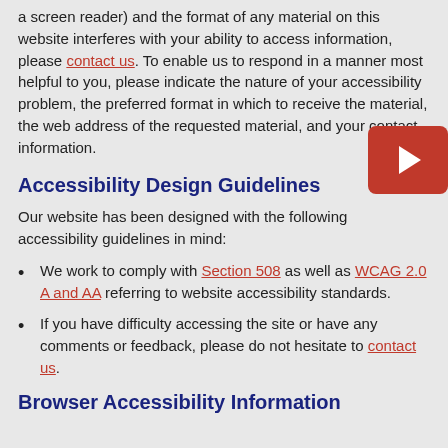a screen reader) and the format of any material on this website interferes with your ability to access information, please contact us. To enable us to respond in a manner most helpful to you, please indicate the nature of your accessibility problem, the preferred format in which to receive the material, the web address of the requested material, and your contact information.
Accessibility Design Guidelines
Our website has been designed with the following accessibility guidelines in mind:
We work to comply with Section 508 as well as WCAG 2.0 A and AA referring to website accessibility standards.
If you have difficulty accessing the site or have any comments or feedback, please do not hesitate to contact us.
Browser Accessibility Information